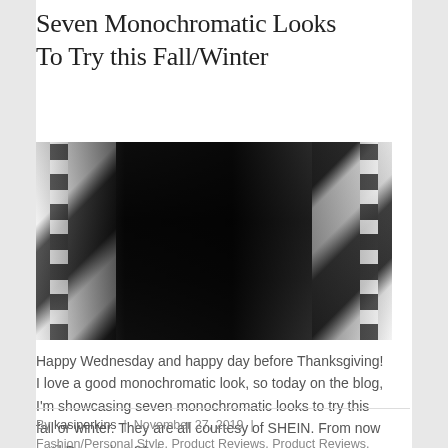Seven Monochromatic Looks To Try this Fall/Winter
[Figure (photo): Fashion photo of a person wearing a black and white checked long coat over an all-black leather outfit with a black bag]
Happy Wednesday and happy day before Thanksgiving! I love a good monochromatic look, so today on the blog, I'm showcasing seven monochromatic looks to try this fall or winter. They are all courtesy of SHEIN. From now until December 31st,...
By kasiperkins | November 27, 2019 | Fashion/Personal Style, Product Reviews, Product Reviews, Street Style